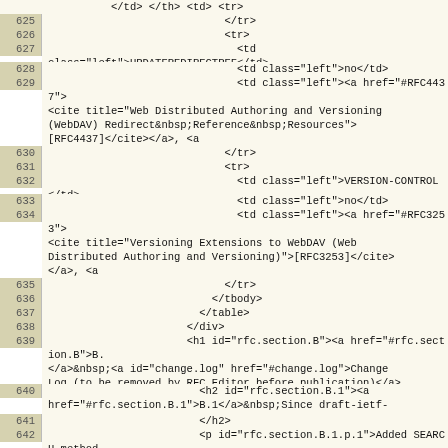Code listing lines 625-642 showing HTML/XML source code for RFC document
625: </tr>
626: <tr>
627: <td class="left">UPDATEREDIRECTREF</td>
628: <td class="left">no</td>
629: <td class="left"><a href="#RFC4437"><cite title="Web Distributed Authoring and Versioning (WebDAV) Redirect&nbsp;Reference&nbsp;Resources">[RFC4437]</cite></a>, <a href="http://tools.ietf.org/html/rfc4437#section-7">Section 7</a></td>
630: </tr>
631: <tr>
632: <td class="left">VERSION-CONTROL</td>
633: <td class="left">no</td>
634: <td class="left"><a href="#RFC3253"><cite title="Versioning Extensions to WebDAV (Web Distributed Authoring and Versioning)">[RFC3253]</cite></a>, <a href="http://tools.ietf.org/html/rfc3253#section-3.5">Section 3.5</a></td>
635: </tr>
636: </tbody>
637: </table>
638: </div>
639: <h1 id="rfc.section.B"><a href="#rfc.section.B">B.</a>&nbsp;<a id="change.log" href="#change.log">Change Log (to be removed by RFC Editor before publication)</a></h1>
640: <h2 id="rfc.section.B.1"><a href="#rfc.section.B.1">B.1</a>&nbsp;Since draft-ietf-httpbis-p1-method-registrations-00
641: </h2>
642: <p id="rfc.section.B.1.p.1">Added SEARCH method